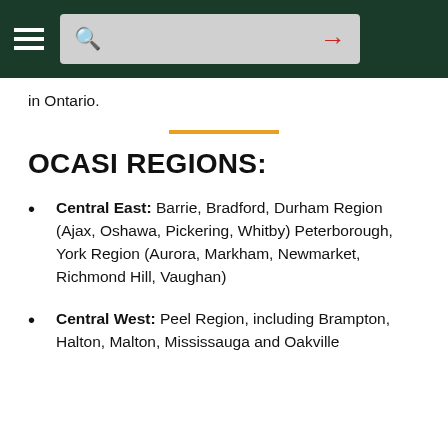in Ontario.
OCASI REGIONS:
Central East: Barrie, Bradford, Durham Region (Ajax, Oshawa, Pickering, Whitby) Peterborough, York Region (Aurora, Markham, Newmarket, Richmond Hill, Vaughan)
Central West: Peel Region, including Brampton, Halton, Malton, Mississauga and Oakville